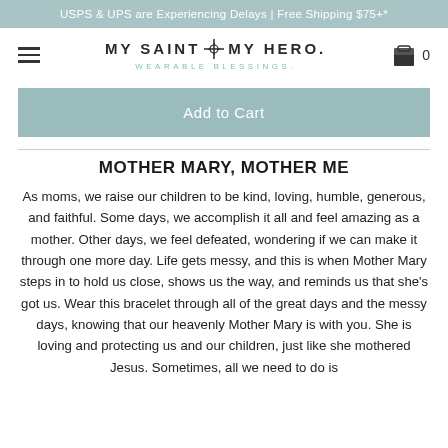USPS & UPS are Experiencing Delays | Free Shipping $75+*
[Figure (logo): My Saint My Hero - Wearable Blessings logo with navigation bar, hamburger menu on left, shopping bag icon with 0 on right]
Add to Cart
MOTHER MARY, MOTHER ME
As moms, we raise our children to be kind, loving, humble, generous, and faithful. Some days, we accomplish it all and feel amazing as a mother. Other days, we feel defeated, wondering if we can make it through one more day. Life gets messy, and this is when Mother Mary steps in to hold us close, shows us the way, and reminds us that she's got us. Wear this bracelet through all of the great days and the messy days, knowing that our heavenly Mother Mary is with you. She is loving and protecting us and our children, just like she mothered Jesus. Sometimes, all we need to do is